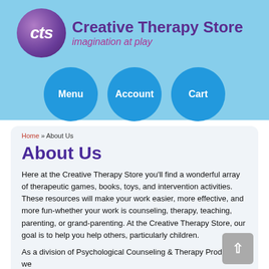[Figure (logo): Creative Therapy Store logo with purple sphere containing 'cts' text, and store name with tagline 'imagination at play']
Menu | Account | Cart
Home » About Us
About Us
Here at the Creative Therapy Store you'll find a wonderful array of therapeutic games, books, toys, and intervention activities. These resources will make your work easier, more effective, and more fun-whether your work is counseling, therapy, teaching, parenting, or grand-parenting. At the Creative Therapy Store, our goal is to help you help others, particularly children.
As a division of Psychological Counseling & Therapy Products, we